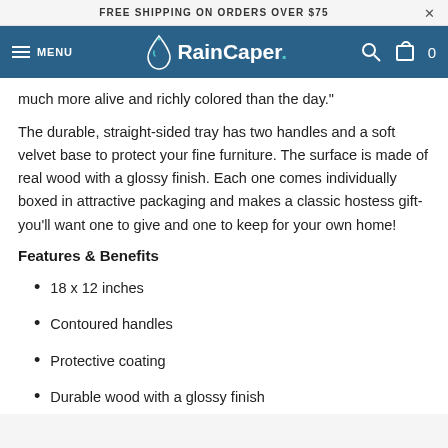FREE SHIPPING ON ORDERS OVER $75
RainCaper. MENU
much more alive and richly colored than the day."
The durable, straight-sided tray has two handles and a soft velvet base to protect your fine furniture. The surface is made of real wood with a glossy finish. Each one comes individually boxed in attractive packaging and makes a classic hostess gift- you'll want one to give and one to keep for your own home!
Features & Benefits
18 x 12 inches
Contoured handles
Protective coating
Durable wood with a glossy finish